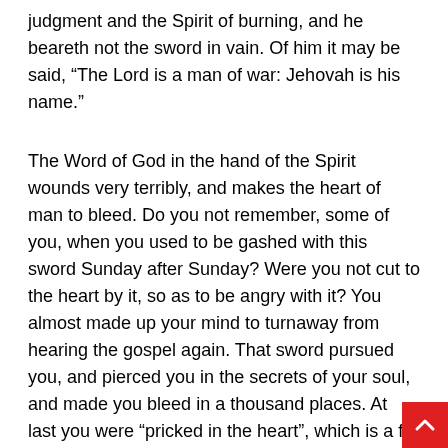judgment and the Spirit of burning, and he beareth not the sword in vain. Of him it may be said, “The Lord is a man of war: Jehovah is his name.”
The Word of God in the hand of the Spirit wounds very terribly, and makes the heart of man to bleed. Do you not remember, some of you, when you used to be gashed with this sword Sunday after Sunday? Were you not cut to the heart by it, so as to be angry with it? You almost made up your mind to turnaway from hearing the gospel again. That sword pursued you, and pierced you in the secrets of your soul, and made you bleed in a thousand places. At last you were “pricked in the heart”, which is a far better thing than being “cut to the heart”; and then execution was done, indeed. That wound was deadly, and none but he that killed could make you alive. Do you recollect how, after this, your sins were slain one after another? Their necks were laid on the